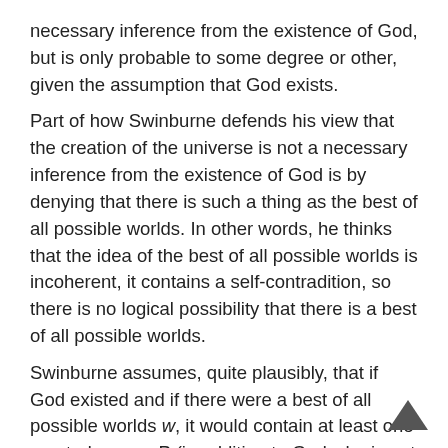necessary inference from the existence of God, but is only probable to some degree or other, given the assumption that God exists. Part of how Swinburne defends his view that the creation of the universe is not a necessary inference from the existence of God is by denying that there is such a thing as the best of all possible worlds. In other words, he thinks that the idea of the best of all possible worlds is incoherent, it contains a self-contradition, so there is no logical possibility that there is a best of all possible worlds. Swinburne assumes, quite plausibly, that if God existed and if there were a best of all possible worlds w, it would contain at least one created person P (in addition to God who is not a